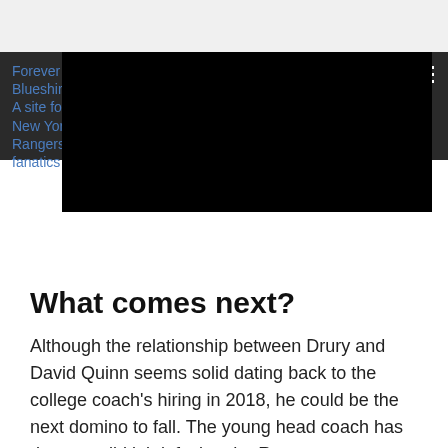Forever Blueshirts: A site for New York Rangers fanatics
What comes next?
Although the relationship between Drury and David Quinn seems solid dating back to the college coach's hiring in 2018, he could be the next domino to fall. The young head coach has done a solid job infusing the R...